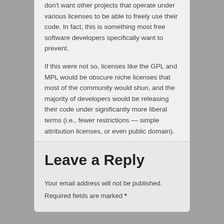don't want other projects that operate under various licenses to be able to freely use their code. In fact, this is something most free software developers specifically want to prevent.
If this were not so, licenses like the GPL and MPL would be obscure niche licenses that most of the community would shun, and the majority of developers would be releasing their code under significantly more liberal terms (i.e., fewer restrictions — simple attribution licenses, or even public domain).
Leave a Reply
Your email address will not be published.
Required fields are marked *